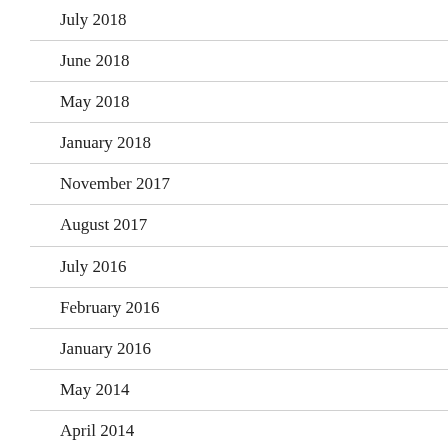July 2018
June 2018
May 2018
January 2018
November 2017
August 2017
July 2016
February 2016
January 2016
May 2014
April 2014